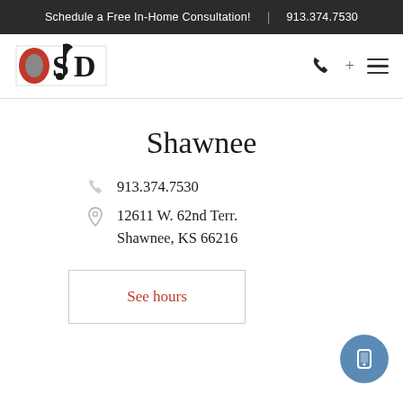Schedule a Free In-Home Consultation!  |  913.374.7530
[Figure (logo): OSD logo with stylized letters O, S, D in black and red with a musical note flourish]
Shawnee
913.374.7530
12611 W. 62nd Terr.
Shawnee, KS 66216
See hours